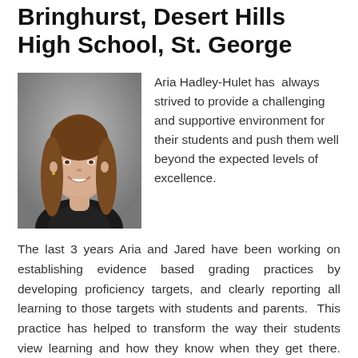Bringhurst, Desert Hills High School, St. George
[Figure (photo): Portrait photo of a young woman with long brown hair, smiling, wearing a black top with a patterned collar, against a grey background.]
Aria Hadley-Hulet has always strived to provide a challenging and supportive environment for their students and push them well beyond the expected levels of excellence.
The last 3 years Aria and Jared have been working on establishing evidence based grading practices by developing proficiency targets, and clearly reporting all learning to those targets with students and parents. This practice has helped to transform the way their students view learning and how they know when they get there. Great clarity has been brought by connecting the purpose of “practice” and its effect on the “evidence of